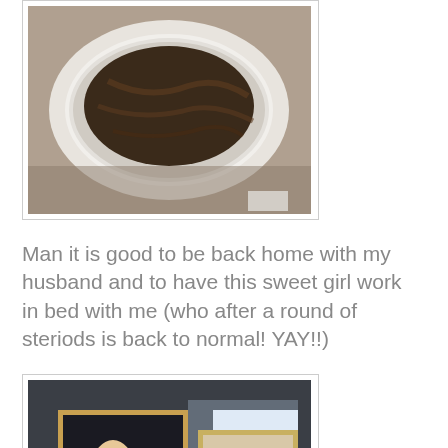[Figure (photo): Close-up photo of what appears to be food in a white bowl, viewed from above, dark brownish content]
Man it is good to be back home with my husband and to have this sweet girl work in bed with me (who after a round of steriods is back to normal! YAY!!)
[Figure (photo): Photo of a room with a blue dresser, framed artwork/paintings on the wall, glass bottles, a bright window, and a dark-colored dog in the foreground looking up]